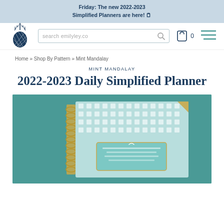Friday: The new 2022-2023 Simplified Planners are here! 🗒
[Figure (logo): Emily Ley pineapple logo in navy blue]
search emilyley.co
0
Home » Shop By Pattern » Mint Mandalay
MINT MANDALAY
2022-2023 Daily Simplified Planner
[Figure (photo): Mint Mandalay 2022-2023 Daily Simplified Planner on a teal/blue-green linen background. The planner has a mint and white Greek key pattern cover with gold spiral binding on the left side and gold corner accents. A mint colored label on the center reads the planner name.]